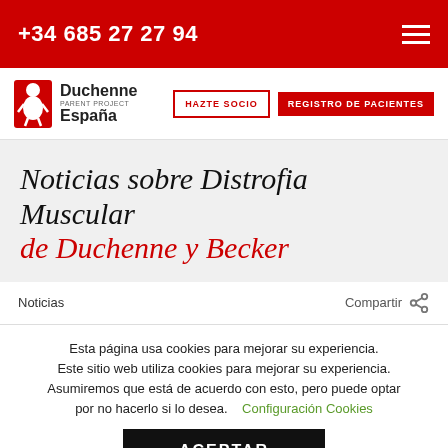+34 685 27 27 94
[Figure (logo): Duchenne Parent Project España logo with small character icon]
HAZTE SOCIO
REGISTRO DE PACIENTES
Noticias sobre Distrofia Muscular de Duchenne y Becker
Noticias
Compartir
Esta página usa cookies para mejorar su experiencia. Este sitio web utiliza cookies para mejorar su experiencia. Asumiremos que está de acuerdo con esto, pero puede optar por no hacerlo si lo desea.   Configuración Cookies
ACEPTAR